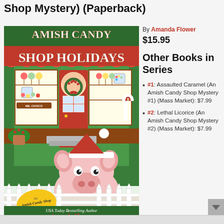Shop Mystery) (Paperback)
[Figure (illustration): Book cover of 'Amish Candy Shop Holidays' by Amanda Flower. Features a candy shop storefront with green and red awning, Christmas wreath on the door, colorful candies in the window display, and a cute pig wearing a Santa hat peeking over a white picket fence. A yellow badge reads 'An Amish Candy Shop Mystery'. Text at bottom reads 'USA Today Bestselling Author Amanda Flower'.]
By Amanda Flower
$15.95
Other Books in Series
#1: Assaulted Caramel (An Amish Candy Shop Mystery #1) (Mass Market): $7.99
#2: Lethal Licorice (An Amish Candy Shop Mystery #2) (Mass Market): $7.99